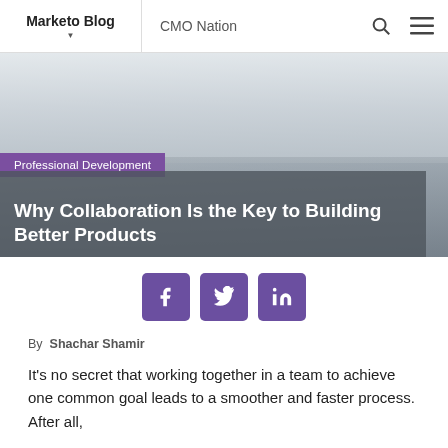Marketo Blog | CMO Nation
[Figure (photo): Hero image of people collaborating in a bright industrial office space with large windows. Purple tag reading 'Professional Development' overlays the image. Dark semi-transparent overlay at bottom contains the article title.]
Why Collaboration Is the Key to Building Better Products
[Figure (infographic): Social sharing icons row: Facebook, Twitter, LinkedIn — purple rounded square buttons]
By  Shachar Shamir
It's no secret that working together in a team to achieve one common goal leads to a smoother and faster process. After all,